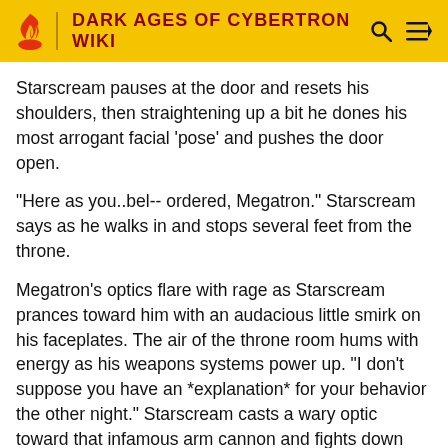DARK AGES OF CYBERTRON WIKI
Starscream pauses at the door and resets his shoulders, then straightening up a bit he dones his most arrogant facial 'pose' and pushes the door open.
"Here as you..bel-- ordered, Megatron." Starscream says as he walks in and stops several feet from the throne.
Megatron's optics flare with rage as Starscream prances toward him with an audacious little smirk on his faceplates. The air of the throne room hums with energy as his weapons systems power up. "I don't suppose you have an *explanation* for your behavior the other night." Starscream casts a wary optic toward that infamous arm cannon and fights down the urge to bolt. "I -- I was working on some complex mathematical computations